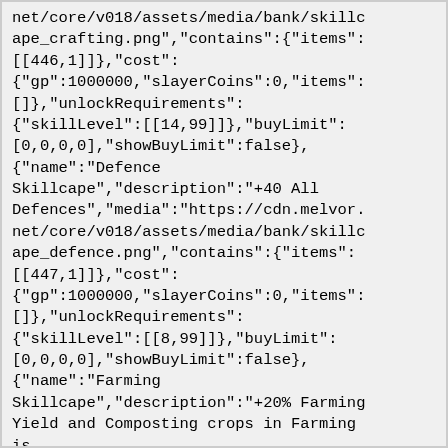net/core/v018/assets/media/bank/skillcape_crafting.png","contains":{"items":[[446,1]]},"cost":{"gp":1000000,"slayerCoins":0,"items":[]},"unlockRequirements":{"skillLevel":[[14,99]]},"buyLimit":[0,0,0,0],"showBuyLimit":false},{"name":"Defence Skillcape","description":"+40 All Defences","media":"https://cdn.melvor.net/core/v018/assets/media/bank/skillcape_defence.png","contains":{"items":[[447,1]]},"cost":{"gp":1000000,"slayerCoins":0,"items":[]},"unlockRequirements":{"skillLevel":[[8,99]]},"buyLimit":[0,0,0,0],"showBuyLimit":false},{"name":"Farming Skillcape","description":"+20% Farming Yield and Composting crops in Farming is free.","media":"https://cdn.melvor.net